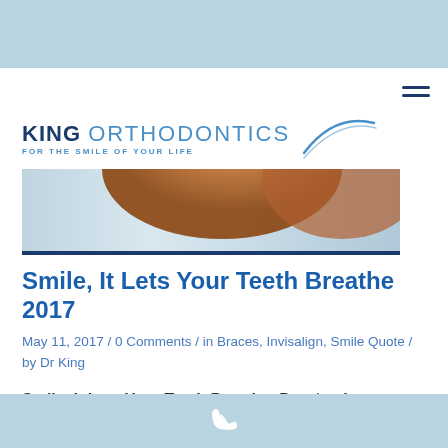King Orthodontics — For The Smile Of Your Life
[Figure (logo): King Orthodontics logo with smile arc graphic]
[Figure (photo): Hero image showing person with red hair, blurred background]
Smile, It Lets Your Teeth Breathe 2017
May 11, 2017 / 0 Comments / in Braces, Invisalign, Smile Quote / by Dr King
Smile, It Lets Your Teeth Breathe. People of any age who have misaligned teeth and are self-
Phone icon